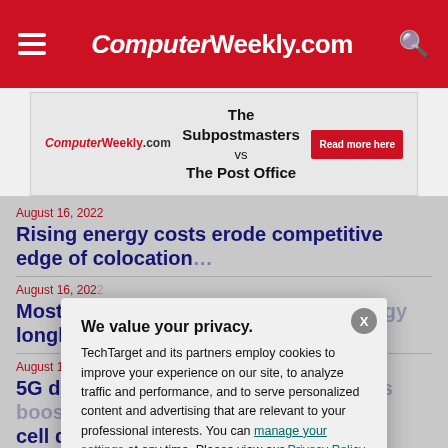ComputerWeekly.com
[Figure (infographic): Ad banner: The Subpostmasters vs The Post Office – Read more here, with ComputerWeekly.com logo]
August 16, 2022
Rising energy costs erode competitive edge of colocation data centres
August 16, 2022
Most influential women in UK technology longlist
August 16, 2022
5G data traffic surges 60% as operators boost small cell deployments
August 16, 2022
South Staffs cyber attack
We value your privacy.
TechTarget and its partners employ cookies to improve your experience on our site, to analyze traffic and performance, and to serve personalized content and advertising that are relevant to your professional interests. You can manage your settings at any time. Please view our Privacy Policy for more information